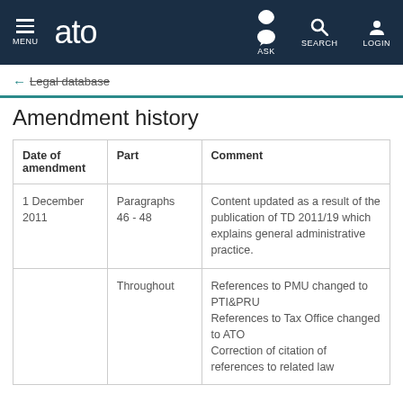MENU | ato | ASK | SEARCH | LOGIN
← Legal database
Amendment history
| Date of amendment | Part | Comment |
| --- | --- | --- |
| 1 December 2011 | Paragraphs 46 - 48 | Content updated as a result of the publication of TD 2011/19 which explains general administrative practice. |
|  | Throughout | References to PMU changed to PTI&PRU
References to Tax Office changed to ATO
Correction of citation of references to related law |